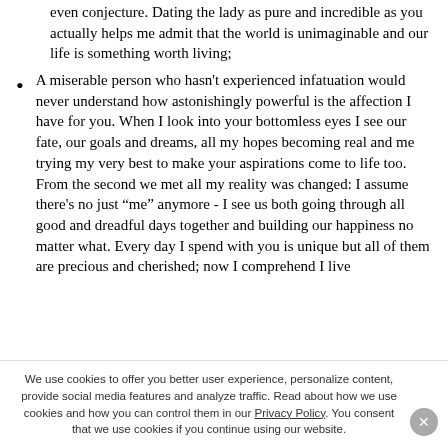even conjecture. Dating the lady as pure and incredible as you actually helps me admit that the world is unimaginable and our life is something worth living;
A miserable person who hasn't experienced infatuation would never understand how astonishingly powerful is the affection I have for you. When I look into your bottomless eyes I see our fate, our goals and dreams, all my hopes becoming real and me trying my very best to make your aspirations come to life too. From the second we met all my reality was changed: I assume there's no just “me” anymore - I see us both going through all good and dreadful days together and building our happiness no matter what. Every day I spend with you is unique but all of them are precious and cherished; now I comprehend I live
We use cookies to offer you better user experience, personalize content, provide social media features and analyze traffic. Read about how we use cookies and how you can control them in our Privacy Policy. You consent that we use cookies if you continue using our website.